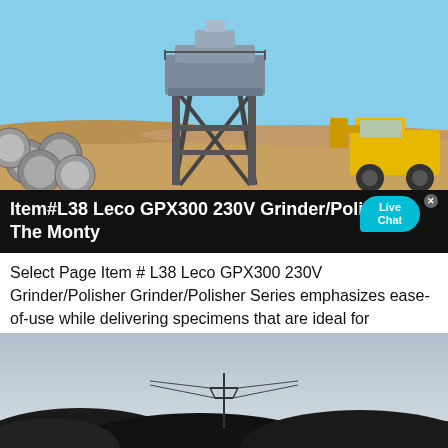[Figure (photo): Outdoor industrial site with a large elevated crusher/grinder machine on a metal frame structure, pipes/cylinders on the left, a yellow front-loader vehicle on the right, blue sky background and sandy ground.]
Item#L38 Leco GPX300 230V Grinder/Poli... The Monty
Select Page Item # L38 Leco GPX300 230V Grinder/Polisher Grinder/Polisher Series emphasizes ease-of-use while delivering specimens that are ideal for microhardness or microstructural work. GPX300 provides an efficient, safe, reliable, and clean grinding ...
[Figure (photo): Outdoor scene at dusk or dawn showing a dark silhouetted landscape with mounds/hills, power line towers visible in the distance, and a pale grey-blue sky.]